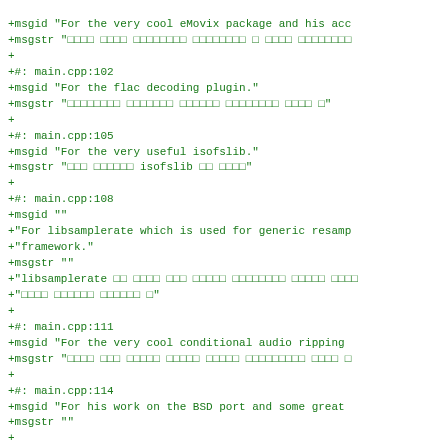+msgid "For the very cool eMovix package and his acc
+msgstr "                                           
+
+#: main.cpp:102
+msgid "For the flac decoding plugin."
+msgstr "                                       "
+
+#: main.cpp:105
+msgid "For the very useful isofslib."
+msgstr "           isofslib        "
+
+#: main.cpp:108
+msgid ""
+"For libsamplerate which is used for generic resamp
+"framework."
+msgstr ""
+"libsamplerate                                      
+"                    "
+
+#: main.cpp:111
+msgid "For the very cool conditional audio ripping
+msgstr "                                           
+
+#: main.cpp:114
+msgid "For his work on the BSD port and some great
+msgstr ""
+
+#: main.cpp:117
+msgid "For his work on the BSD port."
+msgstr ""